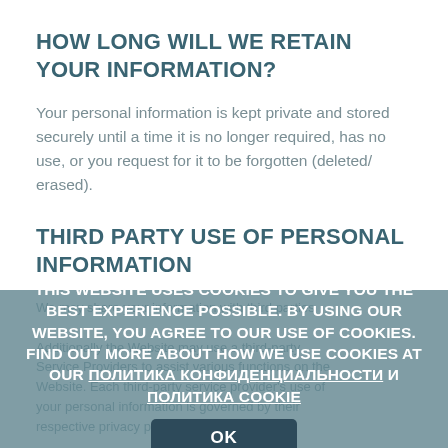HOW LONG WILL WE RETAIN YOUR INFORMATION?
Your personal information is kept private and stored securely until a time it is no longer required, has no use, or you request for it to be forgotten (deleted/ erased).
THIRD PARTY USE OF PERSONAL INFORMATION
We may share your information with third parties
THIS WEBSITE USES COOKIES TO GIVE YOU THE BEST EXPERIENCE POSSIBLE. BY USING OUR WEBSITE, YOU AGREE TO OUR USE OF COOKIES. FIND OUT MORE ABOUT HOW WE USE COOKIES AT OUR ПОЛИТИКА КОНФИДЕНЦИАЛЬНОСТИ И ПОЛИТИКА COOKIE
Additionally the Website may use a third-party Service Providers to assist various functions on the Website. Each third-party service provider's use of your personal information is governed by their respective privacy policies.
OK